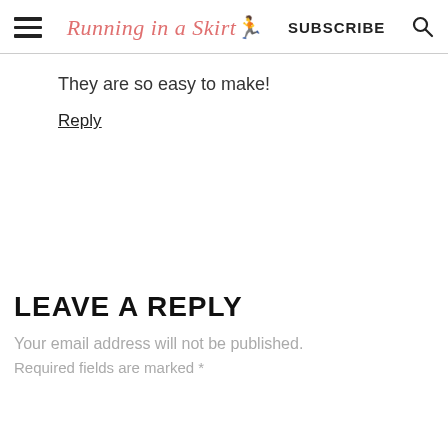Running in a Skirt  SUBSCRIBE
They are so easy to make!
Reply
LEAVE A REPLY
Your email address will not be published.
Required fields are marked *